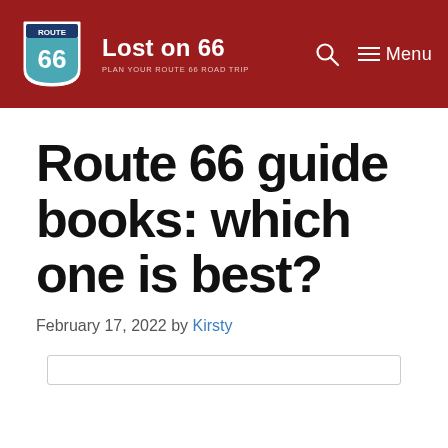Lost on 66 — PLAN YOUR ROUTE 66 ROAD TRIP
Route 66 guide books: which one is best?
February 17, 2022 by Kirsty
[Figure (other): Partial border outline of a content box at page bottom]